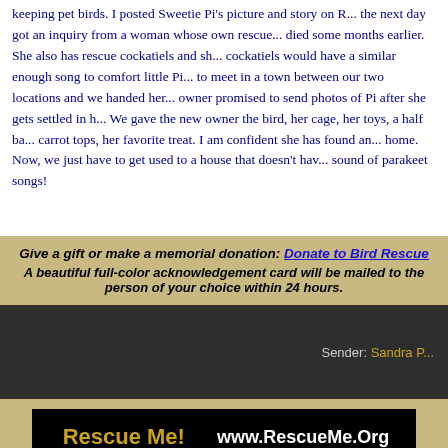keeping pet birds. I posted Sweetie Pi's picture and story on R... the next day got an inquiry from a woman whose own rescue... died some months earlier. She also has rescue cockatiels and sh... cockatiels would have a similar enough song to comfort little Pi... to meet in a town between our two locations and we handed her... owner promised to send photos of Pi after she gets settled in h... We gave the new owner the bird, her cage, her toys, a half ba... carrot tops, her favorite treat. I am confident she has found an... home. Now, we just have to get used to a house that doesn't hav... sound of parakeet songs!
Give a gift or make a memorial donation: Donate to Bird Rescue
A beautiful full-color acknowledgement card will be mailed to the person of your choice within 24 hours.
Sender: Sandra P...
[Figure (logo): Rescue Me! banner with www.RescueMe.Org text on black background]